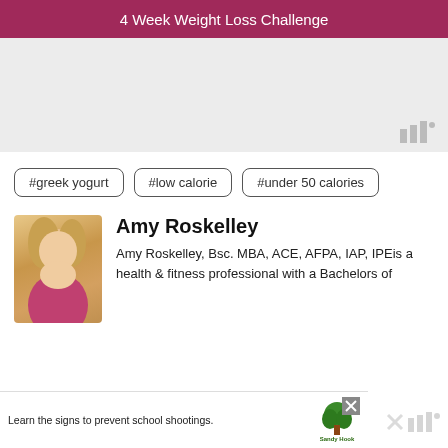4 Week Weight Loss Challenge
[Figure (photo): Light gray placeholder image area with watermark bars icon in lower right]
#greek yogurt
#low calorie
#under 50 calories
Amy Roskelley
Amy Roskelley, Bsc. MBA, ACE, AFPA, IAP, IPEis a health & fitness professional with a Bachelors of
[Figure (photo): Advertisement banner: Learn the signs to prevent school shootings. Sandy Hook Promise logo.]